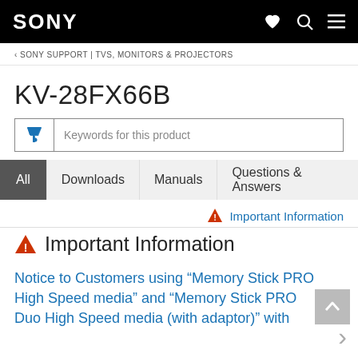SONY
< SONY SUPPORT | TVS, MONITORS & PROJECTORS
KV-28FX66B
Keywords for this product
All  Downloads  Manuals  Questions & Answers
⚠ Important Information
⚠ Important Information
Notice to Customers using "Memory Stick PRO High Speed media" and "Memory Stick PRO Duo High Speed media (with adaptor)" with